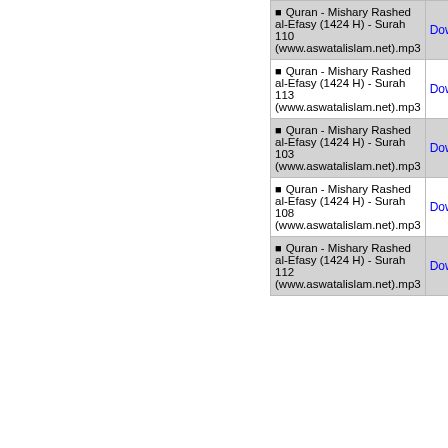Quran - Mishary Rashed al-Efasy (1424 H) - Surah 110 (www.aswatalislam.net).mp3
Quran - Mishary Rashed al-Efasy (1424 H) - Surah 113 (www.aswatalislam.net).mp3
Quran - Mishary Rashed al-Efasy (1424 H) - Surah 103 (www.aswatalislam.net).mp3
Quran - Mishary Rashed al-Efasy (1424 H) - Surah 108 (www.aswatalislam.net).mp3
Quran - Mishary Rashed al-Efasy (1424 H) - Surah 112 (www.aswatalislam.net).mp3
FAQ | Contact Us | Comments
Aswatalislam.net does not represent any of the scholars whose content is available on this site, nor does it necessarily endorse it.
Individuals are encouraged to perform their own research to validate the teachings of those on this site and contact these scholars directly for any clarification.